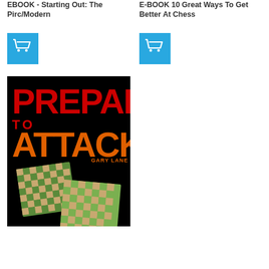EBOOK - Starting Out: The Pirc/Modern
[Figure (other): Blue shopping cart button icon for left column product]
E-BOOK 10 Great Ways To Get Better At Chess
[Figure (other): Blue shopping cart button icon for right column product]
[Figure (photo): Book cover of 'Prepare to Attack' by Gary Lane. Black background with large red text reading PREPARE TO ATTACK and chess board images at the bottom.]